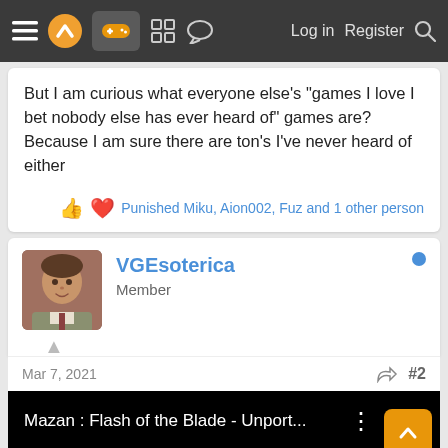Navigation bar: menu icon, logo, gamepad icon, grid icon, chat icon, Log in, Register, search
But I am curious what everyone else's "games I love I bet nobody else has ever heard of" games are? Because I am sure there are ton's I've never heard of either
Punished Miku, Aion002, Fuz and 1 other person
VGEsoterica
Member
Mar 7, 2021
#2
[Figure (screenshot): YouTube video embed showing 'Mazan : Flash of the Blade - Unport...' with black background, video title, three-dot menu icon, and two orange navigation buttons (up arrow and down arrow)]